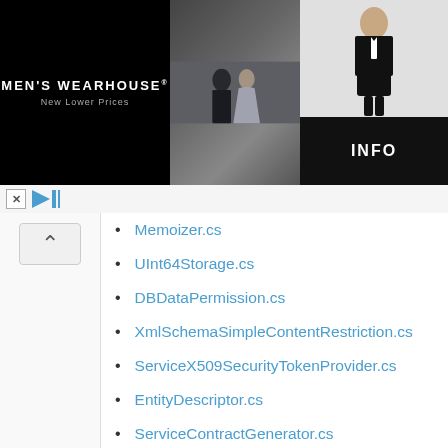[Figure (other): Men's Wearhouse advertisement banner with couple in formal wear and a man in tuxedo with INFO button]
Memoizer.cs
UInt64Storage.cs
DBDataPermission.cs
XmlSchemaSimpleContentRestriction.cs
ServiceX509SecurityTokenProvider.cs
EntityDescriptor.cs
ServiceContractGenerator.cs
DefaultTypeArgumentAttribute.cs
EditorBrowsableAttribute.cs
PersonalizationStateQuery.cs
SymbolDocumentGenerator.cs
RequestBringIntoViewEventArgs.cs